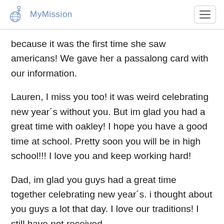My Mission
because it was the first time she saw americans! We gave her a passalong card with our information.
Lauren, I miss you too! it was weird celebrating new year´s without you. But im glad you had a great time with oakley! I hope you have a good time at school. Pretty soon you will be in high school!!! I love you and keep working hard!
Dad, im glad you guys had a great time together celebrating new year´s. i thought about you guys a lot that day. I love our traditions! I still have not received